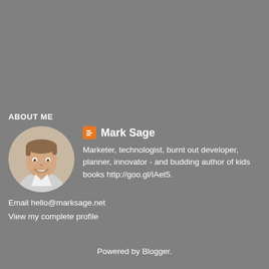ABOUT ME
[Figure (photo): Circular profile photo of Mark Sage, a smiling man with short hair, shown from shoulders up against a light background]
Mark Sage
Marketer, technologist, burnt out developer, planner, innovator - and budding author of kids books http://goo.gl/IAet5.
Email hello@marksage.net
View my complete profile
Powered by Blogger.